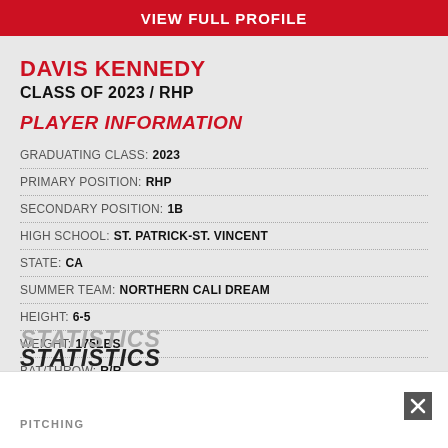VIEW FULL PROFILE
DAVIS KENNEDY
CLASS OF 2023 / RHP
PLAYER INFORMATION
GRADUATING CLASS: 2023
PRIMARY POSITION: RHP
SECONDARY POSITION: 1B
HIGH SCHOOL: ST. PATRICK-ST. VINCENT
STATE: CA
SUMMER TEAM: NORTHERN CALI DREAM
HEIGHT: 6-5
WEIGHT: 175LBS
BAT/THROW: R/R
STATISTICS
PITCHING